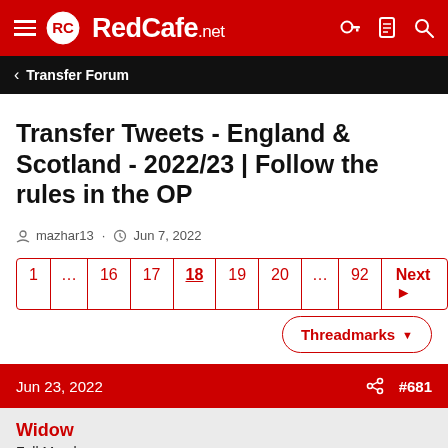RedCafe.net
Transfer Forum
Transfer Tweets - England & Scotland - 2022/23 | Follow the rules in the OP
mazhar13 · Jun 7, 2022
1 ... 16 17 18 19 20 ... 92 Next
Threadmarks
Jun 23, 2022 #681
Widow
Full Member